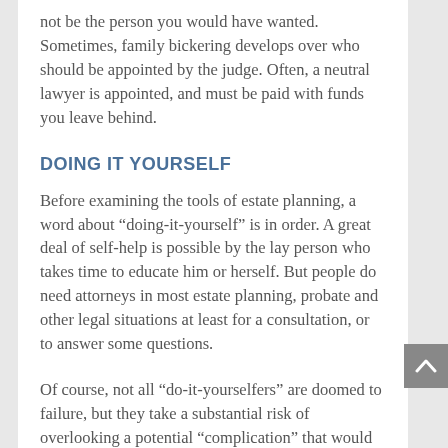not be the person you would have wanted. Sometimes, family bickering develops over who should be appointed by the judge. Often, a neutral lawyer is appointed, and must be paid with funds you leave behind.
DOING IT YOURSELF
Before examining the tools of estate planning, a word about “doing-it-yourself” is in order. A great deal of self-help is possible by the lay person who takes time to educate him or herself. But people do need attorneys in most estate planning, probate and other legal situations at least for a consultation, or to answer some questions.
Of course, not all “do-it-yourselfers” are doomed to failure, but they take a substantial risk of overlooking a potential “complication” that would be obvious to an attorney.